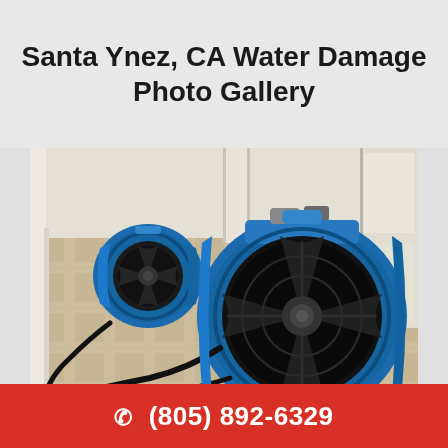Santa Ynez, CA Water Damage Photo Gallery
[Figure (photo): Two blue industrial air mover/fan machines placed on a water-damaged floor inside a room. The large fan is in the foreground on the right, showing its circular blade and black power cord. A second smaller fan is visible in the background on the left. The floor appears to be wet or damaged tile.]
☎ (805) 892-6329